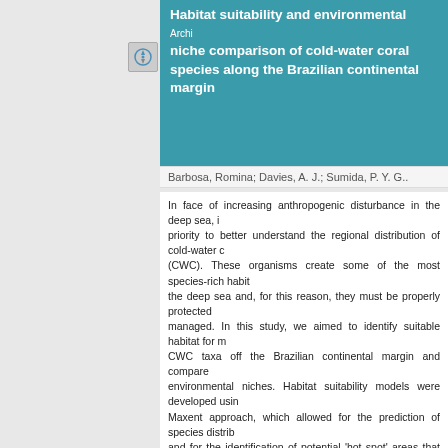Habitat suitability and environmental niche comparison of cold-water coral species along the Brazilian continental margin
Barbosa, Romina; Davies, A. J.; Sumida, P. Y. G..
In face of increasing anthropogenic disturbance in the deep sea, it is a priority to better understand the regional distribution of cold-water corals (CWC). These organisms create some of the most species-rich habitats of the deep sea and, for this reason, they must be properly protected and managed. In this study, we aimed to identify suitable habitat for multiple CWC taxa off the Brazilian continental margin and compare their environmental niches. Habitat suitability models were developed using the Maxent approach, which allowed for the prediction of species distribution, and for the identification of potential 'hot spot' areas that may be important for biodiversity conservation. Ecological niches were determined using a PCA-env approach, and niche...
Tipo: Text
Palavras-chave: Deep-sea corals; Habitat suitability modelling; Lophelia pertusa; Environmental niche; Southwestern Atlantic; Octocorallia; Scleractinia.
Ano: 2020
URL: https://archimer.ifremer.fr/doc/00607/71927/7656
Habitat suitability modelling for sardine juveniles (Sardina pilchardus) in the Mediterranean Sea
Giannoulaki, Marianna; Pyrounaki, Maria M.; Liorzou, Bernard; Leonori, Iole; Valavanis, Vasilis D.; Tsagarakis, Konstantinos; Bigot, Jean-louis; Roos, David; De Felice, Andrea; Campanella, Fabio; Somarakis, Stylianos; Arneri, Enrico; Machias, Athanassios.